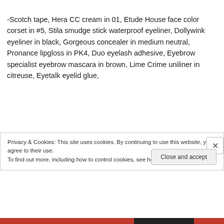-Scotch tape, Hera CC cream in 01, Etude House face color corset in #5, Stila smudge stick waterproof eyeliner, Dollywink eyeliner in black, Gorgeous concealer in medium neutral, Pronance lipgloss in PK4, Duo eyelash adhesive, Eyebrow specialist eyebrow mascara in brown, Lime Crime uniliner in citreuse, Eyetalk eyelid glue,
Privacy & Cookies: This site uses cookies. By continuing to use this website, you agree to their use. To find out more, including how to control cookies, see here: Cookie Policy
Close and accept